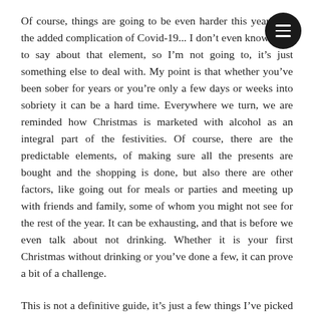Of course, things are going to be even harder this year with the added complication of Covid-19... I don't even know what to say about that element, so I'm not going to, it's just something else to deal with. My point is that whether you've been sober for years or you're only a few days or weeks into sobriety it can be a hard time. Everywhere we turn, we are reminded how Christmas is marketed with alcohol as an integral part of the festivities. Of course, there are the predictable elements, of making sure all the presents are bought and the shopping is done, but also there are other factors, like going out for meals or parties and meeting up with friends and family, some of whom you might not see for the rest of the year. It can be exhausting, and that is before we even talk about not drinking. Whether it is your first Christmas without drinking or you've done a few, it can prove a bit of a challenge.
This is not a definitive guide, it's just a few things I've picked up along the way and hope will help. Please let me know if